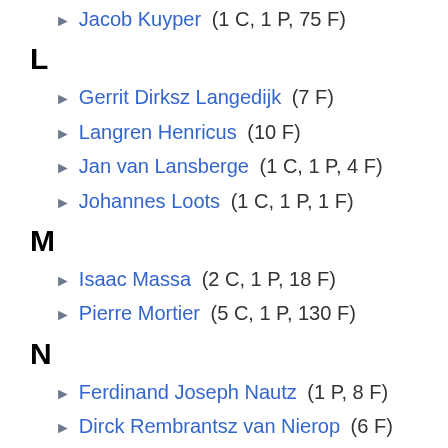Jacob Kuyper (1 C, 1 P, 75 F)
L
Gerrit Dirksz Langedijk (7 F)
Langren Henricus (10 F)
Jan van Lansberge (1 C, 1 P, 4 F)
Johannes Loots (1 C, 1 P, 1 F)
M
Isaac Massa (2 C, 1 P, 18 F)
Pierre Mortier (5 C, 1 P, 130 F)
N
Ferdinand Joseph Nautz (1 P, 8 F)
Dirck Rembrantsz van Nierop (6 F)
S.W. van der Noordaa (8 F)